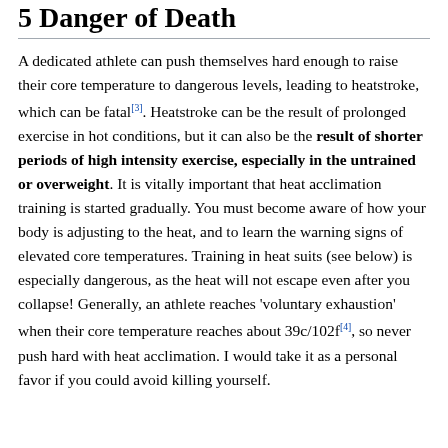5 Danger of Death
A dedicated athlete can push themselves hard enough to raise their core temperature to dangerous levels, leading to heatstroke, which can be fatal[3]. Heatstroke can be the result of prolonged exercise in hot conditions, but it can also be the result of shorter periods of high intensity exercise, especially in the untrained or overweight. It is vitally important that heat acclimation training is started gradually. You must become aware of how your body is adjusting to the heat, and to learn the warning signs of elevated core temperatures. Training in heat suits (see below) is especially dangerous, as the heat will not escape even after you collapse! Generally, an athlete reaches 'voluntary exhaustion' when their core temperature reaches about 39c/102f[4], so never push hard with heat acclimation. I would take it as a personal favor if you could avoid killing yourself.